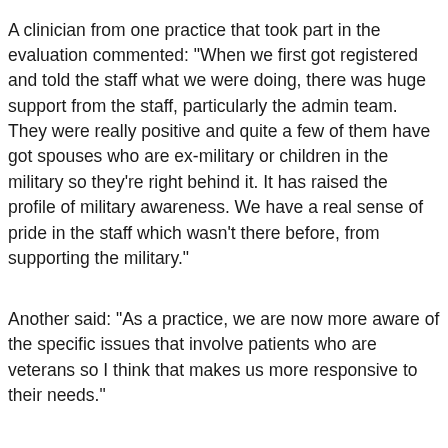A clinician from one practice that took part in the evaluation commented: “When we first got registered and told the staff what we were doing, there was huge support from the staff, particularly the admin team. They were really positive and quite a few of them have got spouses who are ex-military or children in the military so they’re right behind it. It has raised the profile of military awareness. We have a real sense of pride in the staff which wasn’t there before, from supporting the military.”
Another said: “As a practice, we are now more aware of the specific issues that involve patients who are veterans so I think that makes us more responsive to their needs.”
Find out more about the programme and fill in a simple form for more information:
https://www.rcgp.org.uk/veterans
For more information on the University of Chester study, visit: